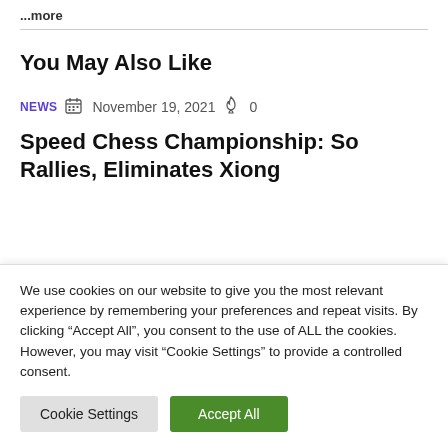...more
You May Also Like
NEWS  November 19, 2021  0
Speed Chess Championship: So Rallies, Eliminates Xiong
We use cookies on our website to give you the most relevant experience by remembering your preferences and repeat visits. By clicking “Accept All”, you consent to the use of ALL the cookies. However, you may visit “Cookie Settings” to provide a controlled consent.